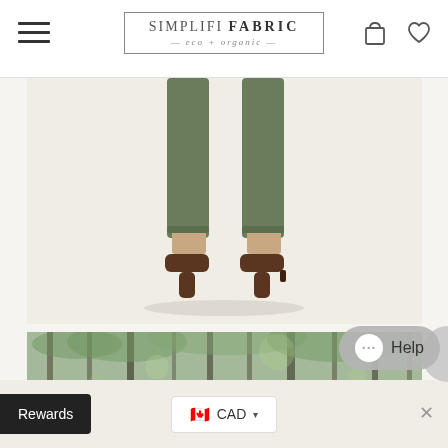SIMPLIFI FABRIC — eco + organic
[Figure (photo): Back view of a person's legs wearing olive/green cropped trousers and dark brown block-heel shoes on a light cream/beige background]
[Figure (photo): Forest scene with bare trees and green foliage viewed from below, blurred/bokeh background]
Help
🇨🇦 CAD ▾
Rewards